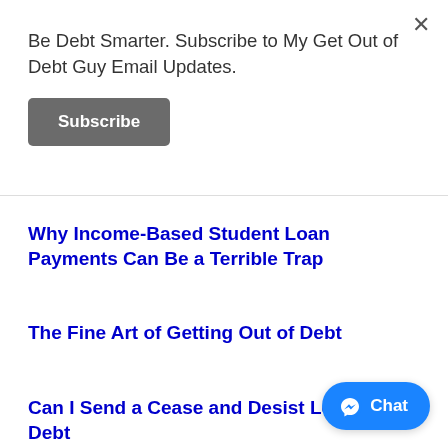Be Debt Smarter. Subscribe to My Get Out of Debt Guy Email Updates.
Subscribe
Why Income-Based Student Loan Payments Can Be a Terrible Trap
The Fine Art of Getting Out of Debt
Can I Send a Cease and Desist Letter to a Debt
[Figure (other): Chat button with Messenger icon]